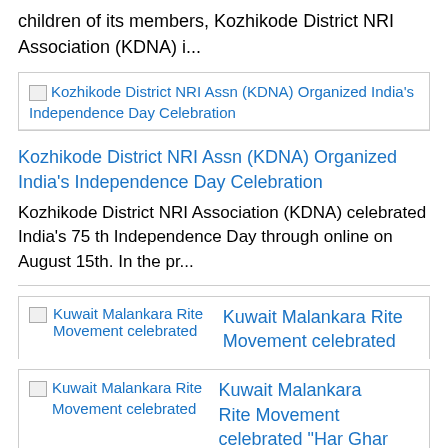children of its members, Kozhikode District NRI Association (KDNA) i...
[Figure (screenshot): Thumbnail image placeholder for Kozhikode District NRI Assn (KDNA) Organized India's Independence Day Celebration]
Kozhikode District NRI Assn (KDNA) Organized India's Independence Day Celebration
Kozhikode District NRI Association (KDNA) celebrated India's 75 th Independence Day through online on August 15th. In the pr...
[Figure (screenshot): Thumbnail image placeholder for Kuwait Malankara Rite Movement celebrated]
Kuwait Malankara Rite Movement celebrated "Har Ghar Thiranga"
As a part of "Har Ghar Thiranga", Kuwait Malankara Rite Movement (KMRM) Abbasiya area celebrated the 75th anniversary of Ind...
[Figure (screenshot): Thumbnail image placeholder for Group of Indians celebrate Independence Day at]